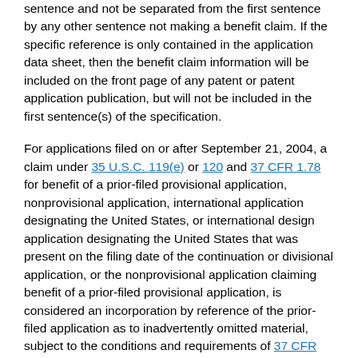sentence and not be separated from the first sentence by any other sentence not making a benefit claim. If the specific reference is only contained in the application data sheet, then the benefit claim information will be included on the front page of any patent or patent application publication, but will not be included in the first sentence(s) of the specification.
For applications filed on or after September 21, 2004, a claim under 35 U.S.C. 119(e) or 120 and 37 CFR 1.78 for benefit of a prior-filed provisional application, nonprovisional application, international application designating the United States, or international design application designating the United States that was present on the filing date of the continuation or divisional application, or the nonprovisional application claiming benefit of a prior-filed provisional application, is considered an incorporation by reference of the prior-filed application as to inadvertently omitted material, subject to the conditions and requirements of 37 CFR 1.57(b). The